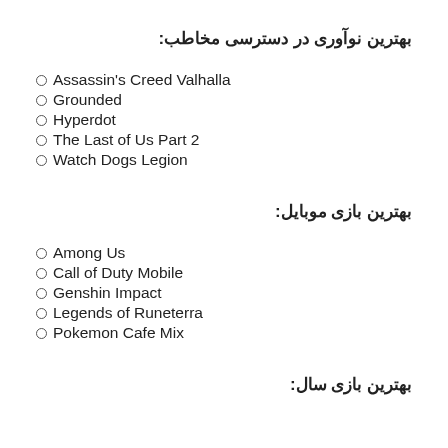بهترین نوآوری در دسترسی مخاطب:
Assassin's Creed Valhalla
Grounded
Hyperdot
The Last of Us Part 2
Watch Dogs Legion
بهترین بازی موبایل:
Among Us
Call of Duty Mobile
Genshin Impact
Legends of Runeterra
Pokemon Cafe Mix
بهترین بازی سال: